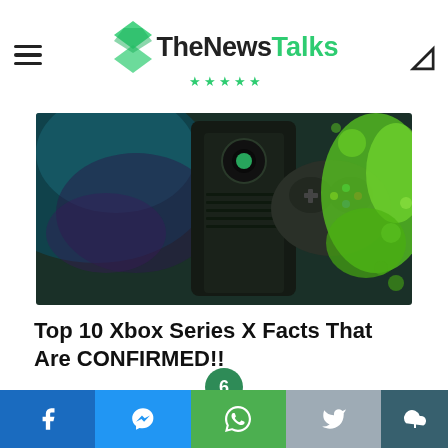TheNewsTalks
[Figure (photo): Xbox Series X console and controller against a dark green background with bright green paint splash effect]
Top 10 Xbox Series X Facts That Are CONFIRMED!!
6
Social share bar: Facebook, Messenger, WhatsApp, Twitter, Share